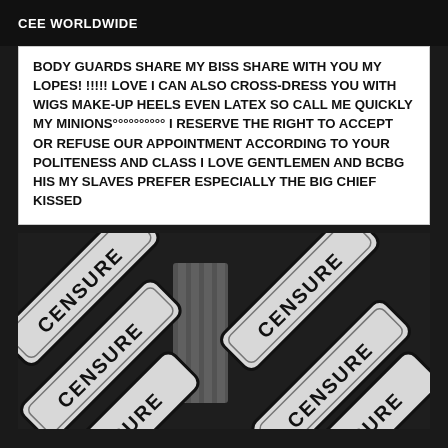CEE WORLDWIDE
BODY GUARDS SHARE MY BISS SHARE WITH YOU MY LOPES! !!!!! LOVE I CAN ALSO CROSS-DRESS YOU WITH WIGS MAKE-UP HEELS EVEN LATEX SO CALL ME QUICKLY MY MINIONS°°°°°°°°°° I RESERVE THE RIGHT TO ACCEPT OR REFUSE OUR APPOINTMENT ACCORDING TO YOUR POLITENESS AND CLASS I LOVE GENTLEMEN AND BCBG HIS MY SLAVES PREFER ESPECIALLY THE BIG CHIEF KISSED
[Figure (photo): Image of a person partially visible behind multiple diagonal CENSURE signs/labels arranged across a dark background]